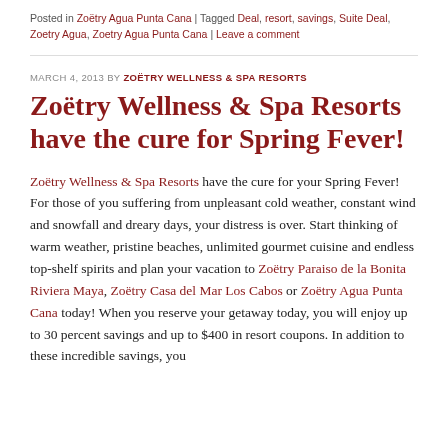Posted in Zoëtry Agua Punta Cana | Tagged Deal, resort, savings, Suite Deal, Zoetry Agua, Zoetry Agua Punta Cana | Leave a comment
MARCH 4, 2013 BY ZOËTRY WELLNESS & SPA RESORTS
Zoëtry Wellness & Spa Resorts have the cure for Spring Fever!
Zoëtry Wellness & Spa Resorts have the cure for your Spring Fever! For those of you suffering from unpleasant cold weather, constant wind and snowfall and dreary days, your distress is over. Start thinking of warm weather, pristine beaches, unlimited gourmet cuisine and endless top-shelf spirits and plan your vacation to Zoëtry Paraiso de la Bonita Riviera Maya, Zoëtry Casa del Mar Los Cabos or Zoëtry Agua Punta Cana today! When you reserve your getaway today, you will enjoy up to 30 percent savings and up to $400 in resort coupons. In addition to these incredible savings you